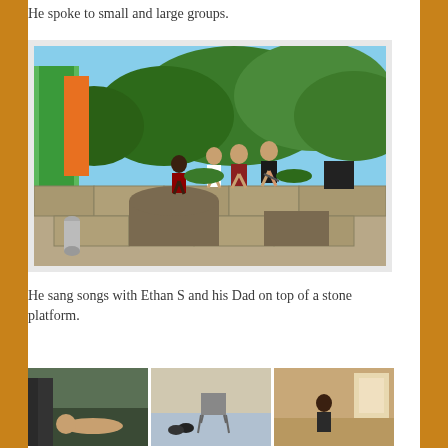He spoke to small and large groups.
[Figure (photo): People standing on top of a stone wall/platform outdoors near a colorful green and orange building with trees in the background.]
He sang songs with Ethan S and his Dad on top of a stone platform.
[Figure (photo): Three small photos in a row at the bottom of the page showing indoor/outdoor scenes.]